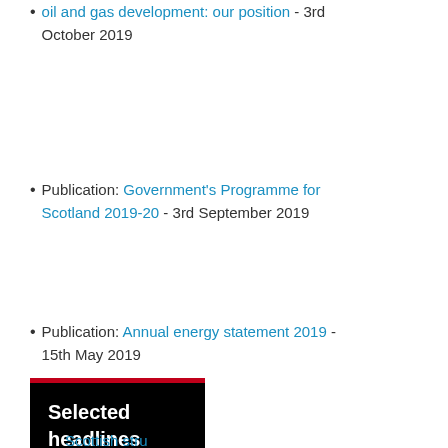oil and gas development: our position - 3rd October 2019
Publication: Government's Programme for Scotland 2019-20 - 3rd September 2019
Publication: Annual energy statement 2019 - 15th May 2019
[Figure (other): Black box with red top border containing bold white text 'Selected headlines']
Scottish stru...